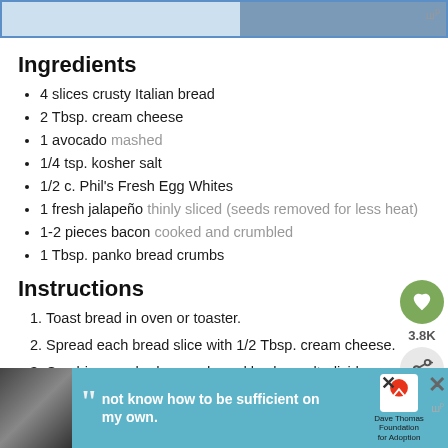[Figure (photo): Top banner image showing food/recipe photo on right half and blue-bordered placeholder on left]
Ingredients
4 slices crusty Italian bread
2 Tbsp. cream cheese
1 avocado mashed
1/4 tsp. kosher salt
1/2 c. Phil's Fresh Egg Whites
1 fresh jalapeño thinly sliced (seeds removed for less heat)
1-2 pieces bacon cooked and crumbled
1 Tbsp. panko bread crumbs
Instructions
Toast bread in oven or toaster.
Spread each bread slice with 1/2 Tbsp. cream cheese.
Combine mashed avocado and kosher salt; divide evenly among bread slices.
In a small skillet, scramble egg whites and spoon evenly over avocado.
Top with jalapeño slices, crumbled bacon, and...